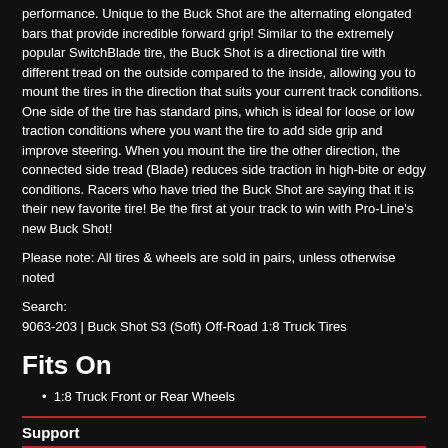performance. Unique to the Buck Shot are the alternating elongated bars that provide incredible forward grip! Similar to the extremely popular SwitchBlade tire, the Buck Shot is a directional tire with different tread on the outside compared to the inside, allowing you to mount the tires in the direction that suits your current track conditions. One side of the tire has standard pins, which is ideal for loose or low traction conditions where you want the tire to add side grip and improve steering. When you mount the tire the other direction, the connected side tread (Blade) reduces side traction in high-bite or edgy conditions. Racers who have tried the Buck Shot are saying that it is their new favorite tire! Be the first at your track to win with Pro-Line's new Buck Shot!
Please note: All tires & wheels are sold in pairs, unless otherwise noted
Search:
9063-203 | Buck Shot S3 (Soft) Off-Road 1:8 Truck Tires
Fits On
1:8 Truck Front or Rear Wheels
Support